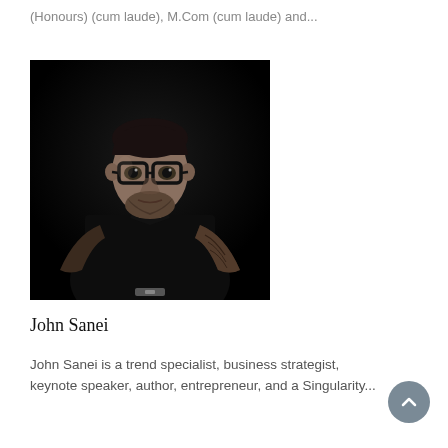(Honours) (cum laude), M.Com (cum laude) and...
[Figure (photo): Professional portrait photo of John Sanei, a man wearing black-rimmed glasses and a black short-sleeve shirt, with visible tattoos on his right arm, posed against a dark background.]
John Sanei
John Sanei is a trend specialist, business strategist, keynote speaker, author, entrepreneur, and a Singularity...